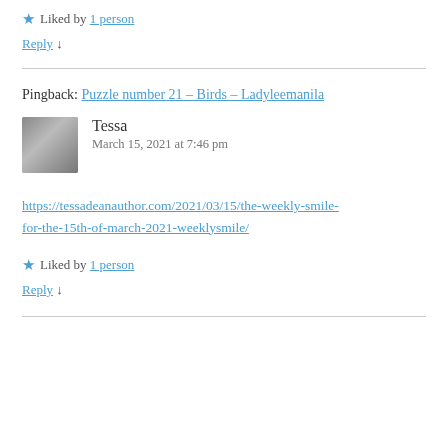★ Liked by 1 person
Reply ↓
Pingback: Puzzle number 21 – Birds – Ladyleemanila
Tessa
March 15, 2021 at 7:46 pm
https://tessadeanauthor.com/2021/03/15/the-weekly-smile-for-the-15th-of-march-2021-weeklysmile/
★ Liked by 1 person
Reply ↓